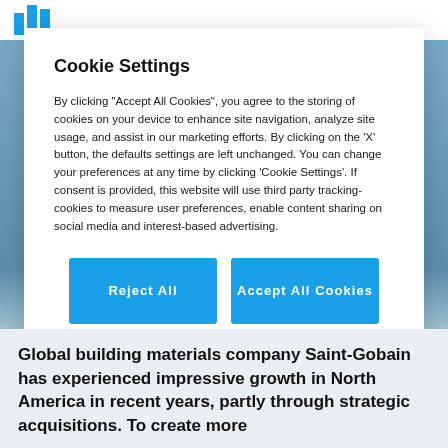[Figure (logo): DLI or similar company logo with blue bar chart icon in top navigation bar]
Cookie Settings
By clicking "Accept All Cookies", you agree to the storing of cookies on your device to enhance site navigation, analyze site usage, and assist in our marketing efforts. By clicking on the 'X' button, the defaults settings are left unchanged. You can change your preferences at any time by clicking 'Cookie Settings'. If consent is provided, this website will use third party tracking-cookies to measure user preferences, enable content sharing on social media and interest-based advertising.
Reject All
Accept All Cookies
Cookies Settings
Global building materials company Saint-Gobain has experienced impressive growth in North America in recent years, partly through strategic acquisitions. To create more